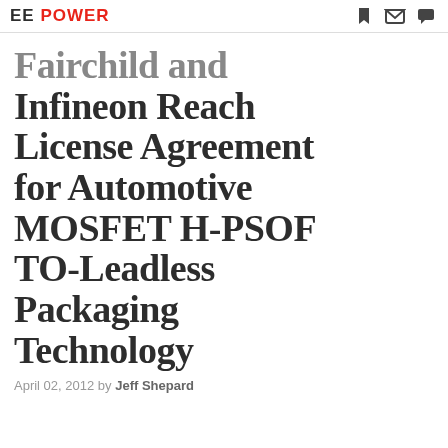EE POWER
Fairchild and Infineon Reach License Agreement for Automotive MOSFET H-PSOF TO-Leadless Packaging Technology
April 02, 2012 by Jeff Shepard